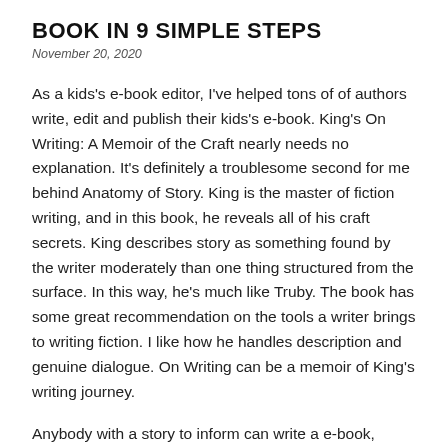BOOK IN 9 SIMPLE STEPS
November 20, 2020
As a kids's e-book editor, I've helped tons of of authors write, edit and publish their kids's e-book. King's On Writing: A Memoir of the Craft nearly needs no explanation. It's definitely a troublesome second for me behind Anatomy of Story. King is the master of fiction writing, and in this book, he reveals all of his craft secrets. King describes story as something found by the writer moderately than one thing structured from the surface. In this way, he's much like Truby. The book has some great recommendation on the tools a writer brings to writing fiction. I like how he handles description and genuine dialogue. On Writing can be a memoir of King's writing journey.
Anybody with a story to inform can write a e-book, either for their very own enjoyment or to publish for all to see. Getting began is usually the toughest half, so